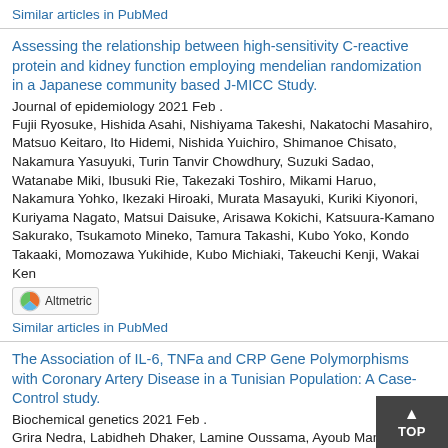Similar articles in PubMed
Assessing the relationship between high-sensitivity C-reactive protein and kidney function employing mendelian randomization in a Japanese community based J-MICC Study.
Journal of epidemiology 2021 Feb .
Fujii Ryosuke, Hishida Asahi, Nishiyama Takeshi, Nakatochi Masahiro, Matsuo Keitaro, Ito Hidemi, Nishida Yuichiro, Shimanoe Chisato, Nakamura Yasuyuki, Turin Tanvir Chowdhury, Suzuki Sadao, Watanabe Miki, Ibusuki Rie, Takezaki Toshiro, Mikami Haruo, Nakamura Yohko, Ikezaki Hiroaki, Murata Masayuki, Kuriki Kiyonori, Kuriyama Nagato, Matsui Daisuke, Arisawa Kokichi, Katsuura-Kamano Sakurako, Tsukamoto Mineko, Tamura Takashi, Kubo Yoko, Kondo Takaaki, Momozawa Yukihide, Kubo Michiaki, Takeuchi Kenji, Wakai Ken
Similar articles in PubMed
The Association of IL-6, TNFa and CRP Gene Polymorphisms with Coronary Artery Disease in a Tunisian Population: A Case-Control study.
Biochemical genetics 2021 Feb .
Grira Nedra, Labidheh Dhaker, Lamine Oussama, Ayoub Manel